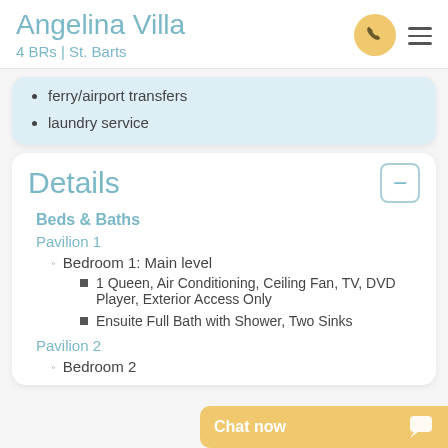Angelina Villa
4 BRs | St. Barts
ferry/airport transfers
laundry service
Details
Beds & Baths
Pavilion 1
Bedroom 1: Main level
1 Queen, Air Conditioning, Ceiling Fan, TV, DVD Player, Exterior Access Only
Ensuite Full Bath with Shower, Two Sinks
Pavilion 2
Bedroom 2